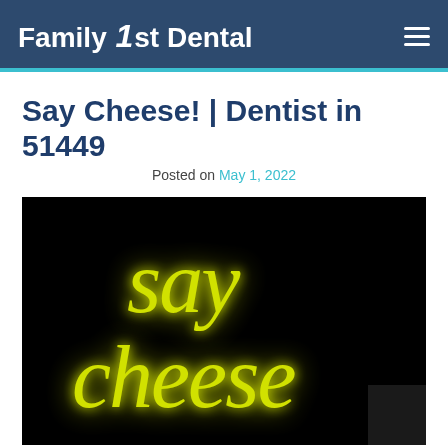Family 1st Dental
Say Cheese! | Dentist in 51449
Posted on May 1, 2022
[Figure (photo): Neon sign glowing in yellow-green on a black background reading 'say cheese' in cursive script]